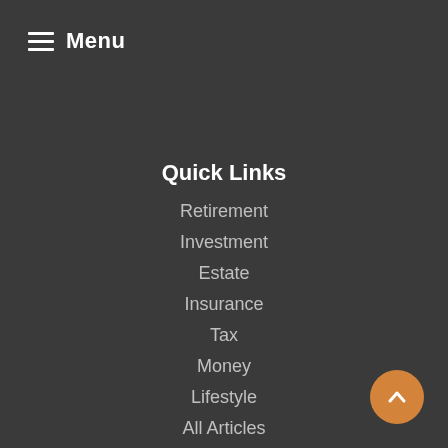Menu
Quick Links
Retirement
Investment
Estate
Insurance
Tax
Money
Lifestyle
All Articles
All Videos
All Calculators
All Presentations